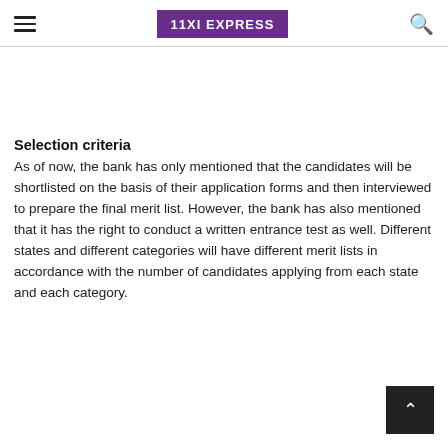11XI EXPRESS
Selection criteria
As of now, the bank has only mentioned that the candidates will be shortlisted on the basis of their application forms and then interviewed to prepare the final merit list. However, the bank has also mentioned that it has the right to conduct a written entrance test as well. Different states and different categories will have different merit lists in accordance with the number of candidates applying from each state and each category.